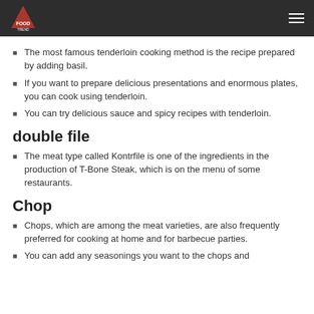Food Trend logo and navigation
The most famous tenderloin cooking method is the recipe prepared by adding basil.
If you want to prepare delicious presentations and enormous plates, you can cook using tenderloin.
You can try delicious sauce and spicy recipes with tenderloin.
double file
The meat type called Kontrfile is one of the ingredients in the production of T-Bone Steak, which is on the menu of some restaurants.
Chop
Chops, which are among the meat varieties, are also frequently preferred for cooking at home and for barbecue parties.
You can add any seasonings you want to the chops and